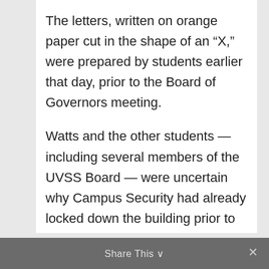The letters, written on orange paper cut in the shape of an “X,” were prepared by students earlier that day, prior to the Board of Governors meeting.
Watts and the other students — including several members of the UVSS Board — were uncertain why Campus Security had already locked down the building prior to their arrival. Despite asking on several occasions, the students were not told by whom or how this decision had been made.
Share This ∨